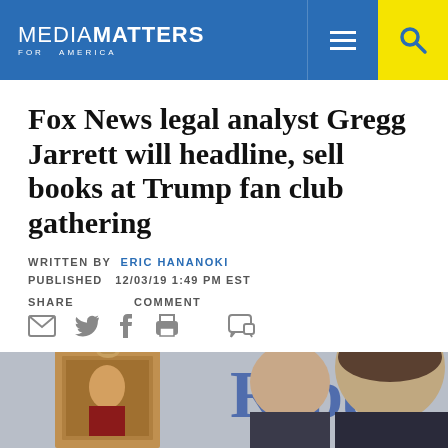MEDIA MATTERS FOR AMERICA
Fox News legal analyst Gregg Jarrett will headline, sell books at Trump fan club gathering
WRITTEN BY ERIC HANANOKI
PUBLISHED 12/03/19 1:49 PM EST
SHARE COMMENT
[Figure (photo): Photo showing two people at what appears to be a Republican gathering, with someone holding a framed portrait of Trump and a banner reading 'Repu...' in the background]